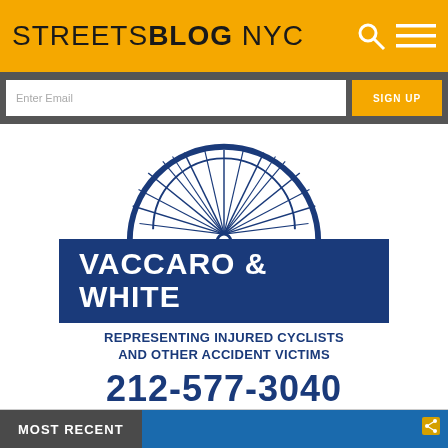STREETSBLOG NYC
Enter Email
SIGN UP
[Figure (logo): Vaccaro & White law firm advertisement with bicycle wheel logo, text 'VACCARO & WHITE', 'REPRESENTING INJURED CYCLISTS AND OTHER ACCIDENT VICTIMS', '212-577-3040']
MOST RECENT